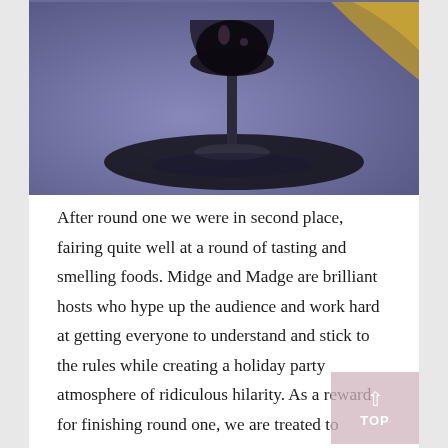[Figure (photo): A close-up photograph of a wine glass stem and base on a blue-purple surface, with dark liquid visible in the bowl, and a golden object partially visible in the upper right.]
After round one we were in second place, fairing quite well at a round of tasting and smelling foods. Midge and Madge are brilliant hosts who hype up the audience and work hard at getting everyone to understand and stick to the rules while creating a holiday party atmosphere of ridiculous hilarity. As a reward for finishing round one, we are treated to smoked haddock with bengali cholar dal, rice crackers, a quail's egg, and coriander cremolata. As someone who's not too keen on fish, I still really enjoyed the dish being well balanced and lightly spiced.